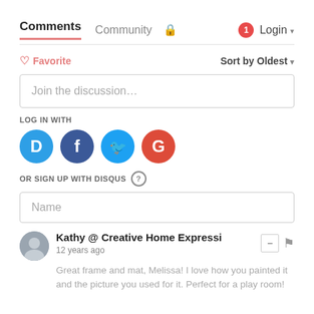Comments   Community   Login
♡ Favorite   Sort by Oldest
Join the discussion…
LOG IN WITH
[Figure (infographic): Social login icons: Disqus (blue), Facebook (dark blue), Twitter (light blue), Google (red)]
OR SIGN UP WITH DISQUS ?
Name
Kathy @ Creative Home Expressi
12 years ago
Great frame and mat, Melissa! I love how you painted it and the picture you used for it. Perfect for a play room!